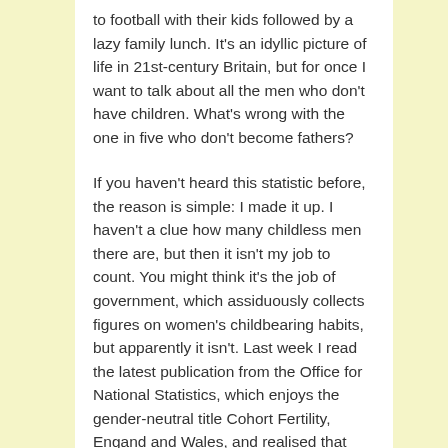to football with their kids followed by a lazy family lunch. It's an idyllic picture of life in 21st-century Britain, but for once I want to talk about all the men who don't have children. What's wrong with the one in five who don't become fathers?
If you haven't heard this statistic before, the reason is simple: I made it up. I haven't a clue how many childless men there are, but then it isn't my job to count. You might think it's the job of government, which assiduously collects figures on women's childbearing habits, but apparently it isn't. Last week I read the latest publication from the Office for National Statistics, which enjoys the gender-neutral title Cohort Fertility, Engand and Wales, and realised that every single statistic relates to women. One in five women born in 1966 has remained childless, compared with one in eight from 1939, and fewer women are having four or more children.
All of this is fascinating, so I called the ONS to ask for comparable figures on men and fatherhood. The ti...